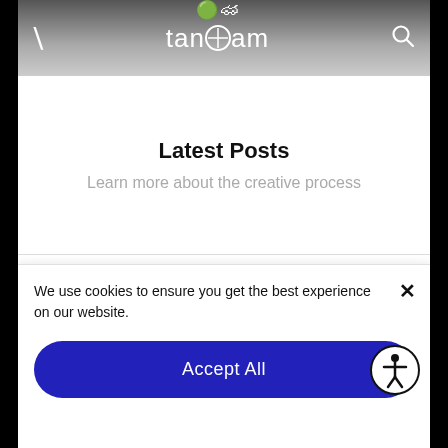tandem (navigation bar with menu icon, logo, and search icon)
Latest Posts
Learn more about the creative process
Get in Touch
Let's create something great together
We use cookies to ensure you get the best experience on our website.
Accept All